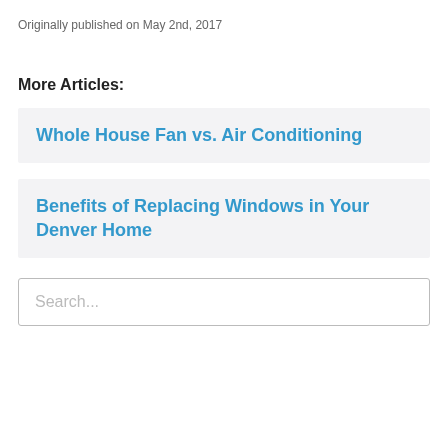Originally published on May 2nd, 2017
More Articles:
Whole House Fan vs. Air Conditioning
Benefits of Replacing Windows in Your Denver Home
Search...